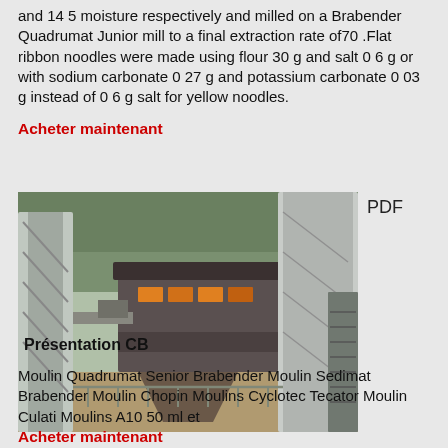and 14 5 moisture respectively and milled on a Brabender Quadrumat Junior mill to a final extraction rate of70 .Flat ribbon noodles were made using flour 30 g and salt 0 6 g or with sodium carbonate 0 27 g and potassium carbonate 0 03 g instead of 0 6 g salt for yellow noodles.
Acheter maintenant
[Figure (photo): Industrial milling or quarrying machinery with conveyor belts, a central processing unit structure, and metal scaffolding/stairs, set outdoors with trees in background.]
PDF
Présentation CB
Moulin Quadrumat Senior Brabender Moulin Sedimat Brabender Moulin Chopin Moulins Cyclotec Tecator Moulin Culati Moulins A10 50 ml et
Acheter maintenant